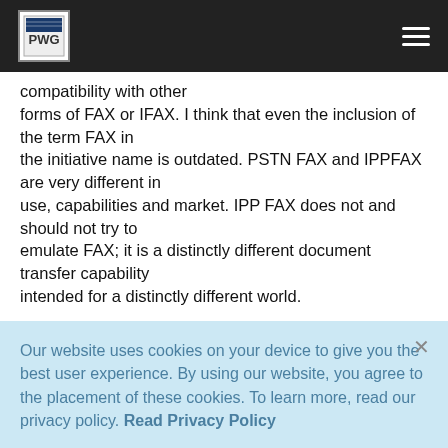PWG logo and navigation bar
compatibility with other forms of FAX or IFAX. I think that even the inclusion of the term FAX in the initiative name is outdated. PSTN FAX and IPPFAX are very different in use, capabilities and market. IPP FAX does not and should not try to emulate FAX; it is a distinctly different document transfer capability intended for a distinctly different world.

I think IFAX has suffered from trying to tie internet fax and PSTN fax...
Our website uses cookies on your device to give you the best user experience. By using our website, you agree to the placement of these cookies. To learn more, read our privacy policy. Read Privacy Policy